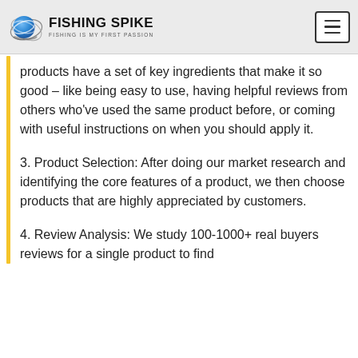[Figure (logo): Fishing Spike logo with blue fishing reel icon, bold text 'FISHING SPIKE' and subtitle 'FISHING IS MY FIRST PASSION']
products have a set of key ingredients that make it so good – like being easy to use, having helpful reviews from others who've used the same product before, or coming with useful instructions on when you should apply it.
3. Product Selection: After doing our market research and identifying the core features of a product, we then choose products that are highly appreciated by customers.
4. Review Analysis: We study 100-1000+ real buyers reviews for a single product to find